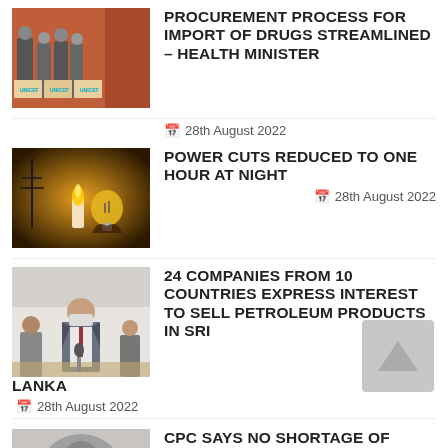[Figure (photo): Group of people standing in front of boxes with UNICEF branding]
PROCUREMENT PROCESS FOR IMPORT OF DRUGS STREAMLINED – HEALTH MINISTER
📅 28th August 2022
[Figure (photo): A candle flame and a light bulb against a dark background with power lines]
POWER CUTS REDUCED TO ONE HOUR AT NIGHT
📅 28th August 2022
[Figure (photo): A man in a suit and mask speaking at a table]
24 COMPANIES FROM 10 COUNTRIES EXPRESS INTEREST TO SELL PETROLEUM PRODUCTS IN SRI LANKA
📅 28th August 2022
[Figure (photo): Partial view of a photo cropped at bottom of page]
CPC SAYS NO SHORTAGE OF